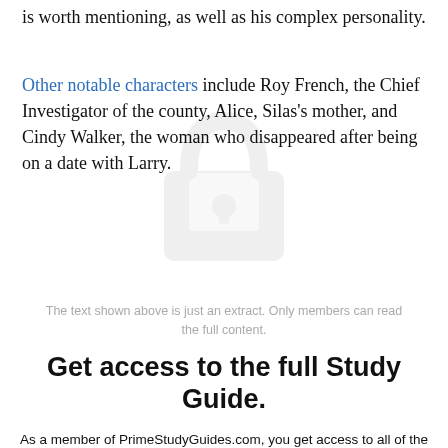is worth mentioning, as well as his complex personality.
Other notable characters include Roy French, the Chief Investigator of the county, Alice, Silas's mother, and Cindy Walker, the woman who disappeared after being on a date with Larry.
The text shown above is just an extract. Only members can read the full content.
Get access to the full Study Guide.
As a member of PrimeStudyGuides.com, you get access to all of the content.
Sign up now →